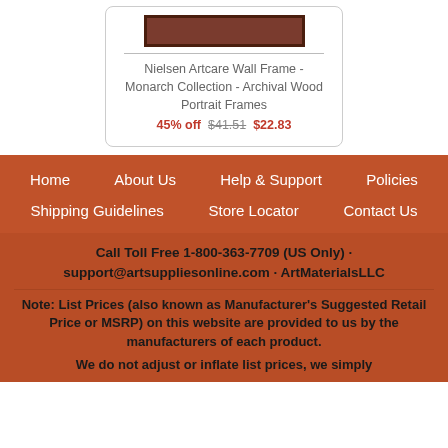[Figure (photo): Product image of Nielsen Artcare Wall Frame - Monarch Collection]
Nielsen Artcare Wall Frame - Monarch Collection - Archival Wood Portrait Frames
45% off  $41.51  $22.83
Home  About Us  Help & Support  Policies  Shipping Guidelines  Store Locator  Contact Us
Call Toll Free 1-800-363-7709 (US Only) · support@artsuppliesonline.com · ArtMaterialsLLC
Note: List Prices (also known as Manufacturer's Suggested Retail Price or MSRP) on this website are provided to us by the manufacturers of each product.
We do not adjust or inflate list prices, we simply